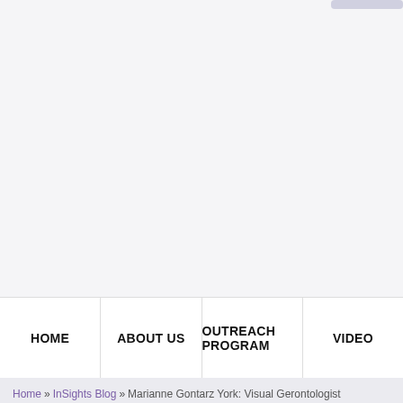HOME | ABOUT US | OUTREACH PROGRAM | VIDEO
Home » InSights Blog » Marianne Gontarz York: Visual Gerontologist
Marianne Gontarz York: Visual Gerontologist